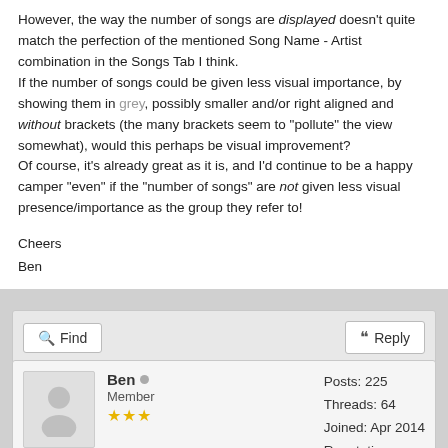However, the way the number of songs are displayed doesn't quite match the perfection of the mentioned Song Name - Artist combination in the Songs Tab I think.
If the number of songs could be given less visual importance, by showing them in grey, possibly smaller and/or right aligned and without brackets (the many brackets seem to "pollute" the view somewhat), would this perhaps be visual improvement?
Of course, it's already great as it is, and I'd continue to be a happy camper "even" if the "number of songs" are not given less visual presence/importance as the group they refer to!
Cheers
Ben
[Figure (other): Action bar with Find and Reply buttons]
[Figure (other): User card showing avatar, name Ben, Member role with 3 stars, Posts: 225, Threads: 64, Joined: Apr 2014, Reputation]